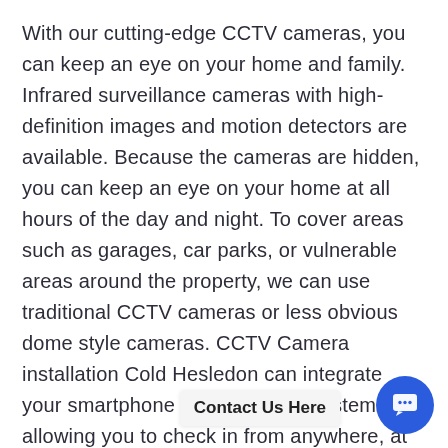With our cutting-edge CCTV cameras, you can keep an eye on your home and family. Infrared surveillance cameras with high-definition images and motion detectors are available. Because the cameras are hidden, you can keep an eye on your home at all hours of the day and night. To cover areas such as garages, car parks, or vulnerable areas around the property, we can use traditional CCTV cameras or less obvious dome style cameras. CCTV Camera installation Cold Hesledon can integrate your smartphone or PC into the system, allowing you to check in from anywhere, at hom
Contact Us Here